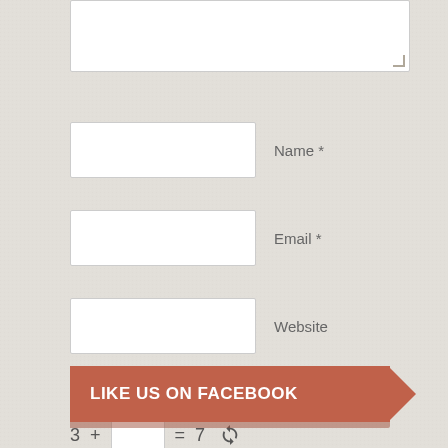[Figure (screenshot): Partial comment form textarea at top of page (white input box, partially visible)]
Name *
Email *
Website
Solve captcha *
3 + [input box] = 7
Post Comment
LIKE US ON FACEBOOK